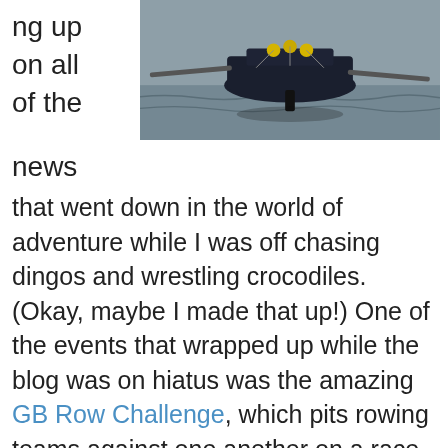ng up
on all
of the
[Figure (photo): A rowing boat on water seen from behind, with oars extended, photographed in overcast conditions]
news
that went down in the world of adventure while I was off chasing dingos and wrestling crocodiles. (Okay, maybe I made that up!) One of the events that wrapped up while the blog was on hiatus was the amazing GB Row Challenge, which pits rowing teams against one another on a race around Great Britain. Thats a 2000-mile (3218 km) journey through some of the toughest, most demanding waters imaginable, making it one of the most challenging rowing events on the planet.